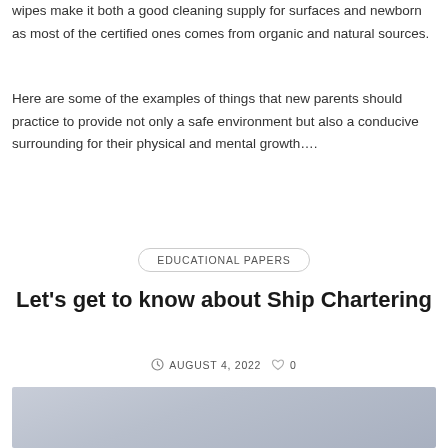wipes make it both a good cleaning supply for surfaces and newborn as most of the certified ones comes from organic and natural sources.
Here are some of the examples of things that new parents should practice to provide not only a safe environment but also a conducive surrounding for their physical and mental growth….
EDUCATIONAL PAPERS
Let's get to know about Ship Chartering
AUGUST 4, 2022   0
[Figure (photo): A light blue-grey image, likely a ship or ocean scene, partially visible at the bottom of the page.]